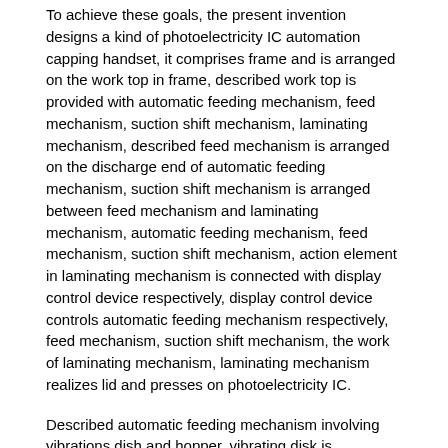To achieve these goals, the present invention designs a kind of photoelectricity IC automation capping handset, it comprises frame and is arranged on the work top in frame, described work top is provided with automatic feeding mechanism, feed mechanism, suction shift mechanism, laminating mechanism, described feed mechanism is arranged on the discharge end of automatic feeding mechanism, suction shift mechanism is arranged between feed mechanism and laminating mechanism, automatic feeding mechanism, feed mechanism, suction shift mechanism, action element in laminating mechanism is connected with display control device respectively, display control device controls automatic feeding mechanism respectively, feed mechanism, suction shift mechanism, the work of laminating mechanism, laminating mechanism realizes lid and presses on photoelectricity IC.
Described automatic feeding mechanism involving vibrations dish and hopper, vibrating disk is connected with one end of hopper, and the other end of hopper extends outward and becomes discharge end.
Described feed mechanism comprises movable cylinder, material feeding seat, feeding push rod, flitch, flitch sliding